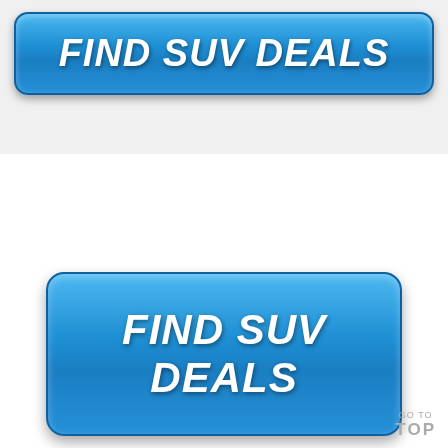[Figure (screenshot): A blue rounded-rectangle CTA button with bold white italic text reading FIND SUV DEALS, at the top of the page]
[Figure (screenshot): A browser UI tab bar element showing a caret/chevron up arrow in a white tab on a light grey bar]
[Figure (screenshot): A second blue rounded-rectangle CTA button with bold white italic text reading FIND SUV DEALS, larger and centered in the lower portion of the white area]
GO TO TOP